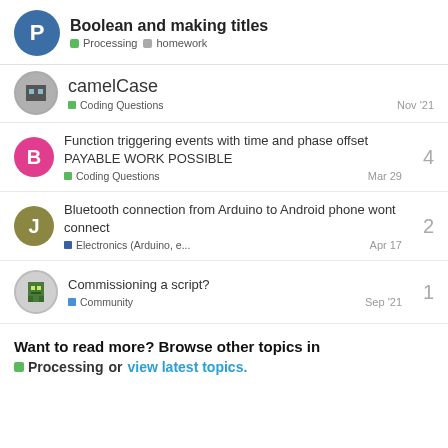Boolean and making titles — Processing, homework
camelCase — Coding Questions — Nov '21
Function triggering events with time and phase offset PAYABLE WORK POSSIBLE — Coding Questions — Mar 29 — 4 replies
Bluetooth connection from Arduino to Android phone wont connect — Electronics (Arduino, e... — Apr 17 — 2 replies
Commissioning a script? — Community — Sep '21 — 1 reply
Want to read more? Browse other topics in Processing or view latest topics.